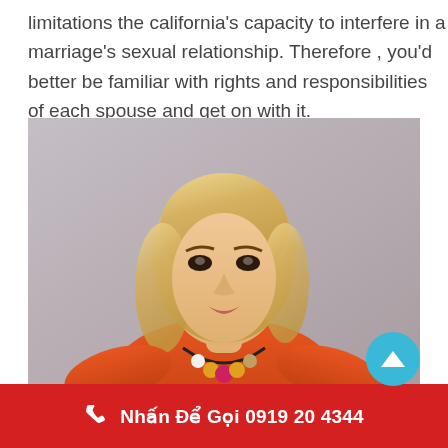limitations the california's capacity to interfere in a marriage's sexual relationship. Therefore , you'd better be familiar with rights and responsibilities of each spouse and get on with it.
[Figure (photo): A blonde woman wearing an orange off-shoulder top and a colorful beaded necklace, posed against a grey background.]
Nhấn Để Gọi 0919 20 4344